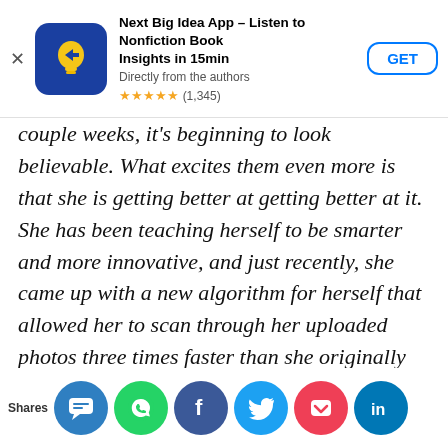[Figure (infographic): App store advertisement banner for 'Next Big Idea App – Listen to Nonfiction Book Insights in 15min', showing blue icon with lightbulb, star rating of (1,345), and a GET button]
couple weeks, it's beginning to look believable. What excites them even more is that she is getting better at getting better at it. She has been teaching herself to be smarter and more innovative, and just recently, she came up with a new algorithm for herself that allowed her to scan through her uploaded photos three times faster than she originally could.
As the weeks pass, Turry continues to surprise the team with her rapid development. The
[Figure (infographic): Social sharing bar at the bottom with buttons: Shares label, SMS/chat icon (blue), WhatsApp (green), Facebook (blue), Twitter (blue), Pocket (red), LinkedIn (blue)]